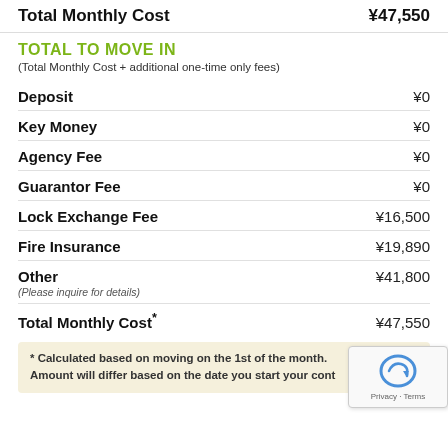Total Monthly Cost   ¥47,550
TOTAL TO MOVE IN
(Total Monthly Cost + additional one-time only fees)
Deposit   ¥0
Key Money   ¥0
Agency Fee   ¥0
Guarantor Fee   ¥0
Lock Exchange Fee   ¥16,500
Fire Insurance   ¥19,890
Other   ¥41,800
(Please inquire for details)
Total Monthly Cost*   ¥47,550
* Calculated based on moving on the 1st of the month. Amount will differ based on the date you start your cont...